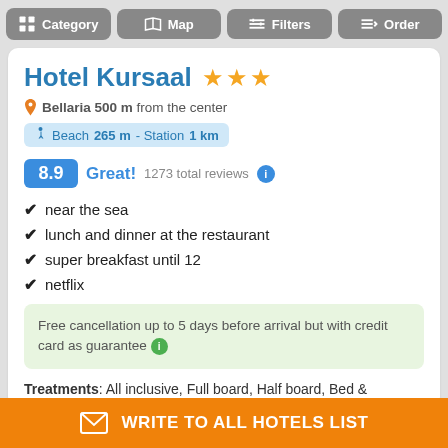Category | Map | Filters | Order
Hotel Kursaal ★★★
Bellaria 500 m from the center
Beach 265 m - Station 1 km
8.9 Great! 1273 total reviews
near the sea
lunch and dinner at the restaurant
super breakfast until 12
netflix
Free cancellation up to 5 days before arrival but with credit card as guarantee
Treatments: All inclusive, Full board, Half board, Bed &
WRITE TO ALL HOTELS LIST